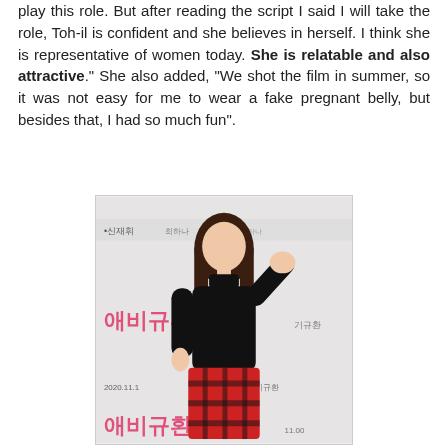play this role. But after reading the script I said I will take the role, Toh-il is confident and she believes in herself. I think she is representative of women today. She is relatable and also attractive." She also added, "We shot the film in summer, so it was not easy for me to wear a fake pregnant belly, but besides that, I had so much fun".
[Figure (photo): A young woman with long straight dark brown hair wearing a black turtleneck top and red and black plaid skirt, posing in front of a promotional backdrop with Korean text and the movie title 애비규환 (Abigyu-hwan), dated 2020.11.]